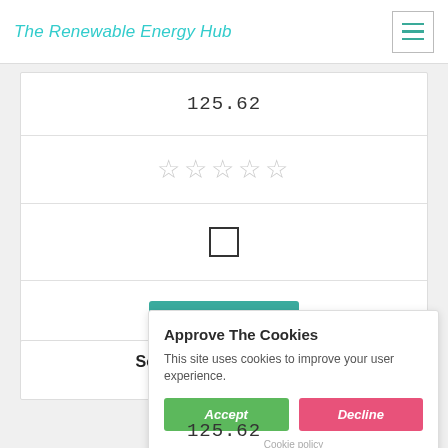The Renewable Energy Hub
125.62
[Figure (other): Five empty star rating icons (☆☆☆☆☆) in light grey]
[Figure (other): Unchecked checkbox icon]
Get a Quote
Southern California E...
45350 San Luis Rey, ...
Approve The Cookies
This site uses cookies to improve your user experience.
Accept
Decline
Cookie policy
125.62